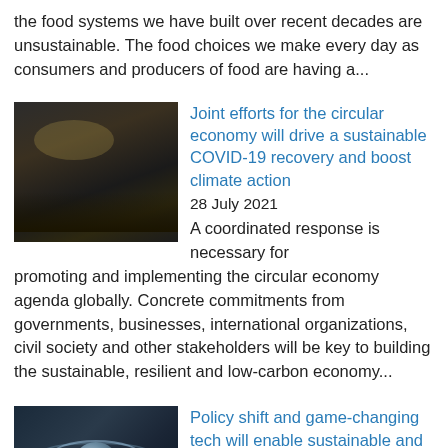the food systems we have built over recent decades are unsustainable. The food choices we make every day as consumers and producers of food are having a...
[Figure (photo): Dark industrial warehouse scene with piles of materials/waste]
Joint efforts for the circular economy will drive a sustainable COVID-19 recovery and boost climate action
28 July 2021
A coordinated response is necessary for promoting and implementing the circular economy agenda globally. Concrete commitments from governments, businesses, international organizations, civil society and other stakeholders will be key to building the sustainable, resilient and low-carbon economy...
[Figure (photo): Futuristic technology sphere with circular rings, blue-toned industrial/tech setting]
Policy shift and game-changing tech will enable sustainable and circular economy at scale